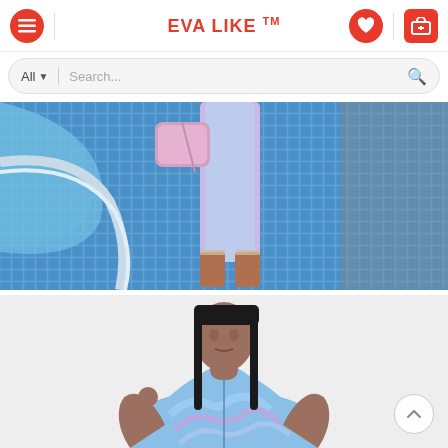EVA LIKE ™ — navigation header with menu, wishlist, and cart icons
All  Search...
[Figure (photo): Close-up photo of a woman's legs and feet in clear heeled sandals standing on blue mosaic pool tiles, holding a pink quilted handbag, wearing light blue/lavender tie-dye pants]
[Figure (photo): Photo of a young woman with long straight black hair wearing a blue/purple tie-dye zip-up jacket, posing with one hand near her temple against a white background]